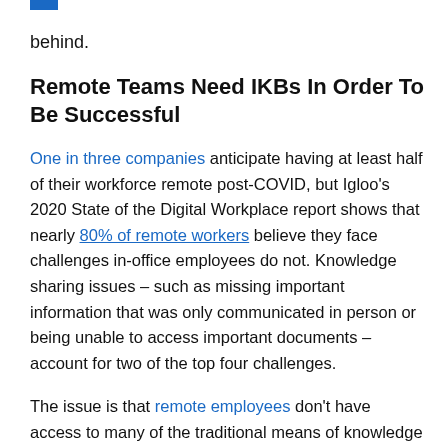behind.
Remote Teams Need IKBs In Order To Be Successful
One in three companies anticipate having at least half of their workforce remote post-COVID, but Igloo's 2020 State of the Digital Workplace report shows that nearly 80% of remote workers believe they face challenges in-office employees do not. Knowledge sharing issues – such as missing important information that was only communicated in person or being unable to access important documents – account for two of the top four challenges.
The issue is that remote employees don't have access to many of the traditional means of knowledge